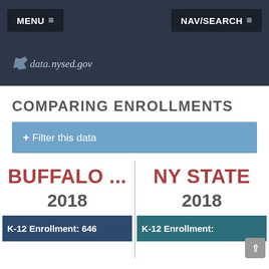MENU ≡    NAV/SEARCH ≡
[Figure (logo): data.nysed.gov logo with NY state outline icon]
COMPARING ENROLLMENTS
+ Filter this data
BUFFALO ...  2018  K-12 Enrollment: 646
NY STATE  2018  K-12 Enrollment: